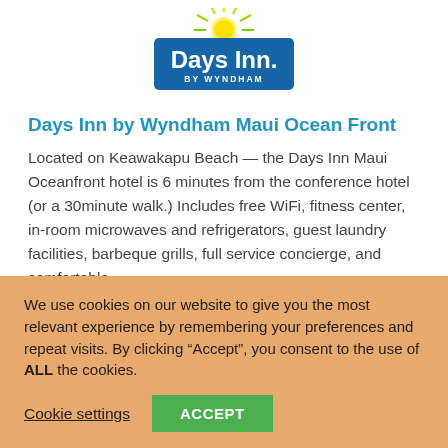[Figure (logo): Days Inn by Wyndham logo — blue rectangular badge with sunburst and bold white text 'Days Inn.' above 'BY WYNDHAM']
Days Inn by Wyndham Maui Ocean Front
Located on Keawakapu Beach — the Days Inn Maui Oceanfront hotel is 6 minutes from the conference hotel (or a 30minute walk.) Includes free WiFi, fitness center, in-room microwaves and refrigerators, guest laundry facilities, barbeque grills, full service concierge, and comfortable
We use cookies on our website to give you the most relevant experience by remembering your preferences and repeat visits. By clicking “Accept”, you consent to the use of ALL the cookies.
Cookie settings   ACCEPT